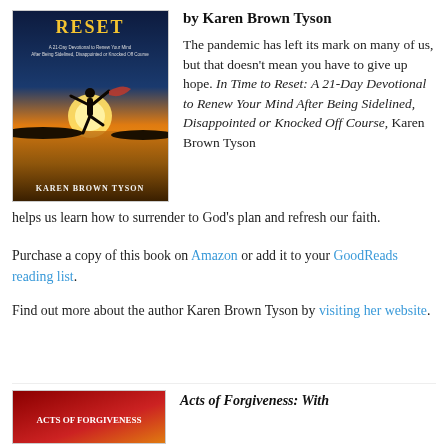[Figure (photo): Book cover of 'Reset: A 21-Day Devotional to Renew Your Mind After Being Sidelined, Disappointed or Knocked Off Course' by Karen Brown Tyson, showing a silhouette of a person against a sunset over water.]
by Karen Brown Tyson
The pandemic has left its mark on many of us, but that doesn't mean you have to give up hope. In Time to Reset: A 21-Day Devotional to Renew Your Mind After Being Sidelined, Disappointed or Knocked Off Course, Karen Brown Tyson helps us learn how to surrender to God's plan and refresh our faith.
Purchase a copy of this book on Amazon or add it to your GoodReads reading list.
Find out more about the author Karen Brown Tyson by visiting her website.
[Figure (photo): Thumbnail of another book cover, partially visible at bottom of page.]
Acts of Forgiveness: With